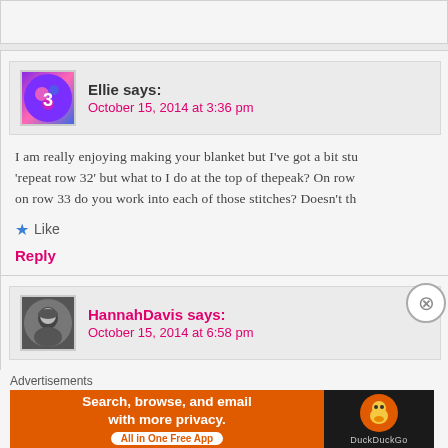Ellie says: October 15, 2014 at 3:36 pm
I am really enjoying making your blanket but I've got a bit stu 'repeat row 32' but what to I do at the top of thepeak? On row on row 33 do you work into each of those stitches? Doesn't th
Like
Reply
HannahDavis says: October 15, 2014 at 6:58 pm
I'm glad you're enjoying it so far! I'm sorry for the confusion 3 stitches into the center stitch of the 3 stitches below. Do
Advertisements
[Figure (screenshot): DuckDuckGo advertisement banner: orange left panel reading 'Search, browse, and email with more privacy. All in One Free App' and dark right panel with DuckDuckGo duck logo]